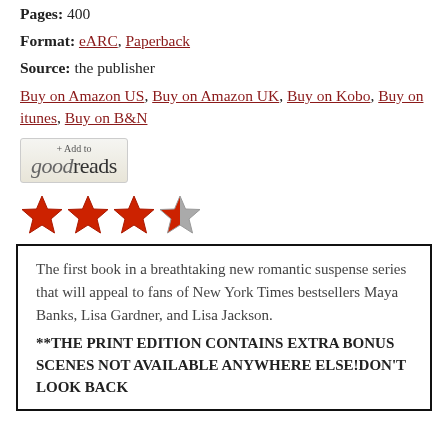Pages: 400
Format: eARC, Paperback
Source: the publisher
Buy on Amazon US, Buy on Amazon UK, Buy on Kobo, Buy on itunes, Buy on B&N
[Figure (other): Goodreads + Add to button and 3.5 star rating (4 stars: 3 full red stars and 1 half red/grey star)]
The first book in a breathtaking new romantic suspense series that will appeal to fans of New York Times bestsellers Maya Banks, Lisa Gardner, and Lisa Jackson. **THE PRINT EDITION CONTAINS EXTRA BONUS SCENES NOT AVAILABLE ANYWHERE ELSE!DON'T LOOK BACK